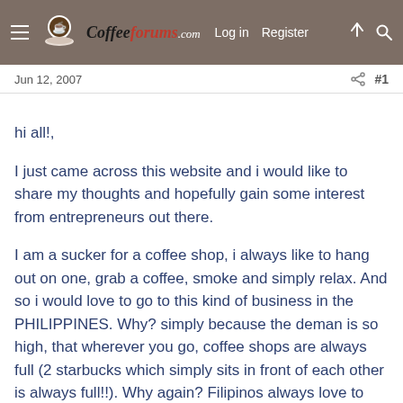CoffeeForums.com  Log in  Register
Jun 12, 2007  #1
hi all!,

I just came across this website and i would like to share my thoughts and hopefully gain some interest from entrepreneurs out there.

I am a sucker for a coffee shop, i always like to hang out on one, grab a coffee, smoke and simply relax. And so i would love to go to this kind of business in the PHILIPPINES. Why? simply because the deman is so high, that wherever you go, coffee shops are always full (2 starbucks which simply sits in front of each other is always full!!). Why again? Filipinos always love to relax, hang out with friends, and unwind from busy but low